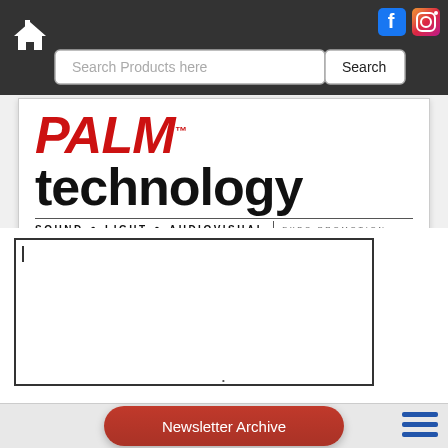[Figure (screenshot): Top navigation bar with home icon, Facebook and Instagram social media icons, and a search bar with text 'Search Products here' and a Search button]
[Figure (logo): PALM technology logo with subtitle SOUND • LIGHT • AUDIOVISUAL EXPO PROMOTION]
[Figure (screenshot): Empty white text input box with cursor]
•
[Figure (screenshot): Hamburger menu icon with three blue horizontal lines]
Newsletter Archive